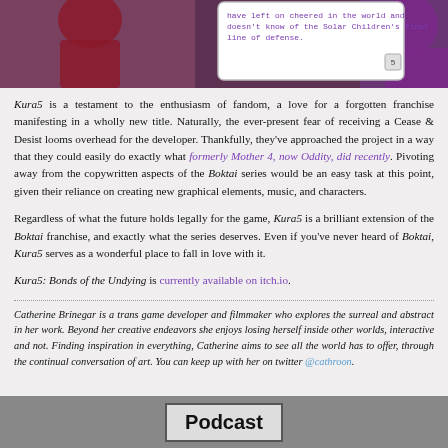[Figure (screenshot): Screenshot from game Kura5 showing a visual novel dialogue box with purple/dark background, character art on edges, and text reading about the world and Solar Children's final line of defense, with a '5' button in corner]
Kura5 is a testament to the enthusiasm of fandom, a love for a forgotten franchise manifesting in a wholly new title. Naturally, the ever-present fear of receiving a Cease & Desist looms overhead for the developer. Thankfully, they've approached the project in a way that they could easily do exactly what formerly Mother 4, now Oddity, did recently. Pivoting away from the copywritten aspects of the Boktai series would be an easy task at this point, given their reliance on creating new graphical elements, music, and characters.
Regardless of what the future holds legally for the game, Kura5 is a brilliant extension of the Boktai franchise, and exactly what the series deserves. Even if you've never heard of Boktai, Kura5 serves as a wonderful place to fall in love with it.
Kura5: Bonds of the Undying is currently available on itch.io.
Catherine Brinegar is a trans game developer and filmmaker who explores the surreal and abstract in her work. Beyond her creative endeavors she enjoys losing herself inside other worlds, interactive and not. Finding inspiration in everything, Catherine aims to see all the world has to offer, through the continual conversation of art. You can keep up with her on twitter @cathroon.
Podcast